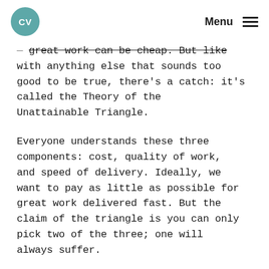CV | Menu
saying otherwise, not even great product design work. Yup, I've s— great work can be cheap. But like with anything else that sounds too good to be true, there's a catch: it's called the Theory of the Unattainable Triangle.
Everyone understands these three components: cost, quality of work, and speed of delivery. Ideally, we want to pay as little as possible for great work delivered fast. But the claim of the triangle is you can only pick two of the three; one will always suffer.